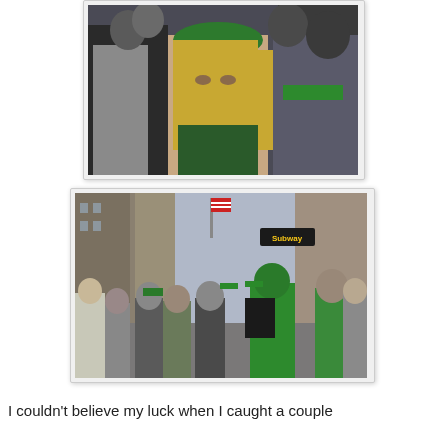[Figure (photo): St. Patrick's Day parade crowd photo showing people wearing green hats and accessories, close-up of a blonde woman in a green beret]
[Figure (photo): St. Patrick's Day parade street scene in New York City showing crowds of people wearing green, with a Subway sign and American flags visible on buildings]
I couldn't believe my luck when I caught a couple